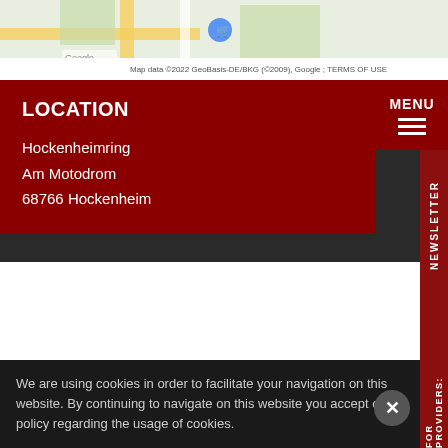[Figure (map): Google Maps screenshot showing Hockenheimring area with map attribution: Map data ©2022 GeoBasis-DE/BKG (©2009), Google; TERMS OF USE]
LOCATION
Hockenheimring
Am Motodrom
68766 Hockenheim
SITE PLAN
DOWNLOAD SITE PLAN (PDF) ↓
We are using cookies in order to facilitate your navigation on this website. By continuing to navigate on this website you accept our policy regarding the usage of cookies.